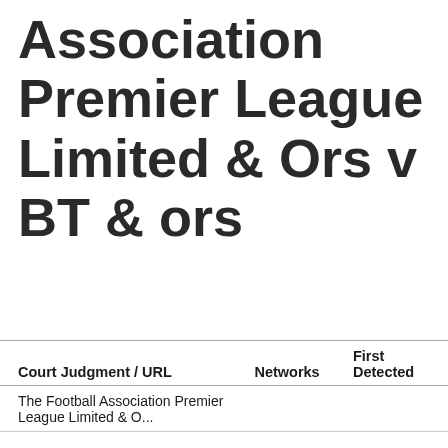Association Premier League Limited & Ors v BT & ors
| Court Judgment / URL | Networks | First Detected |
| --- | --- | --- |
| The Football Association Premier League Limited & O... |  |  |